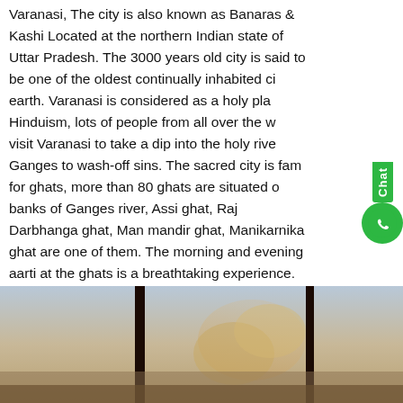Varanasi, The city is also known as Banaras & Kashi Located at the northern Indian state of Uttar Pradesh. The 3000 years old city is said to be one of the oldest continually inhabited cities on earth. Varanasi is considered as a holy place for Hinduism, lots of people from all over the world visit Varanasi to take a dip into the holy river Ganges to wash-off sins. The sacred city is famous for ghats, more than 80 ghats are situated on the banks of Ganges river, Assi ghat, Raj ghat, Darbhanga ghat, Man mandir ghat, Manikarnika ghat are one of them. The morning and evening aarti at the ghats is a breathtaking experience. Ones in your life you must experience the spiritual environment of Varanasi.
[Figure (photo): Photo strip showing Varanasi ghats with smoke/fire, dark pillar structures against a hazy sky background]